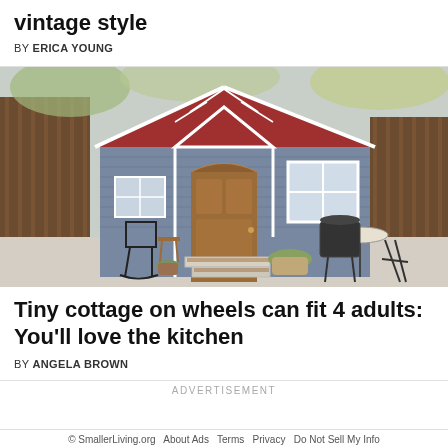vintage style
BY ERICA YOUNG
[Figure (photo): Exterior photo of a small blue-grey tiny house on wheels with a red corrugated metal roof, wooden front door with arched top, white trim gable details, step entry, potted plants, rocking chair, and outdoor furniture in a backyard setting.]
Tiny cottage on wheels can fit 4 adults: You'll love the kitchen
BY ANGELA BROWN
ADVERTISEMENT
© SmallerLiving.org  About Ads  Terms  Privacy  Do Not Sell My Info